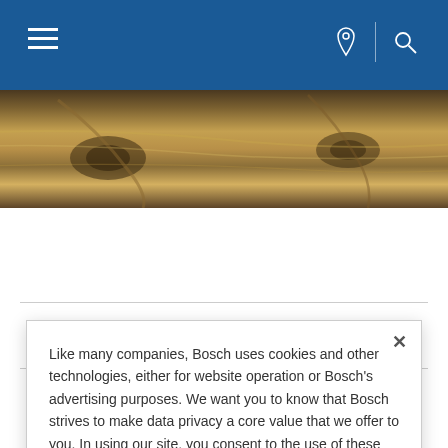Bosch website navigation bar with hamburger menu, location icon, and search icon
[Figure (photo): Close-up photo of wood grain texture with knots, brown tones]
| Difficulty |  |
| --- | --- |
| Difficulty | Hard |
This week we're sharing a surprise project brought to you by this month's Featured Blogger, Jamie Pashinkal of Pashinkal Reality…
Like many companies, Bosch uses cookies and other technologies, either for website operation or Bosch's advertising purposes. We want you to know that Bosch strives to make data privacy a core value that we offer to you. In using our site, you consent to the use of these cookies and other technologies. Change your preferences.
Y